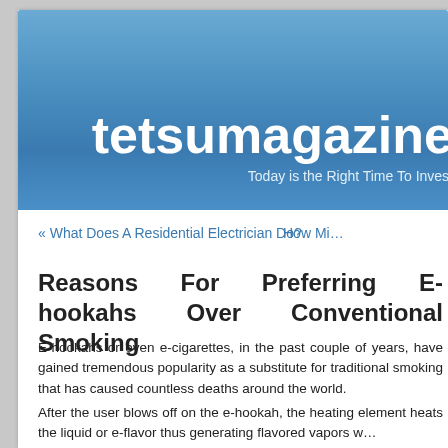tetsumagazine — Today is the Right Time To Invest
« What Does A Residential Electrician Do?    How M…
Reasons For Preferring E-hookahs Over Conventional Smoking
E-hookahs or even e-cigarettes, in the past couple of years, have gained tremendous popularity as a substitute for traditional smoking that has caused countless deaths around the world.
After the user blows off on the e-hookah, the heating element heats the liquid or e-flavor thus generating flavored vapors w…